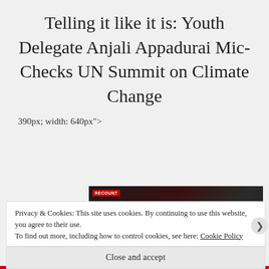Telling it like it is: Youth Delegate Anjali Appadurai Mic-Checks UN Summit on Climate Change
390px; width: 640px">
[Figure (screenshot): Dark video thumbnail with a red broadcast badge in the top-left corner, appearing to show a partial face or figure on a dark red/black background.]
Privacy & Cookies: This site uses cookies. By continuing to use this website, you agree to their use.
To find out more, including how to control cookies, see here: Cookie Policy
Close and accept